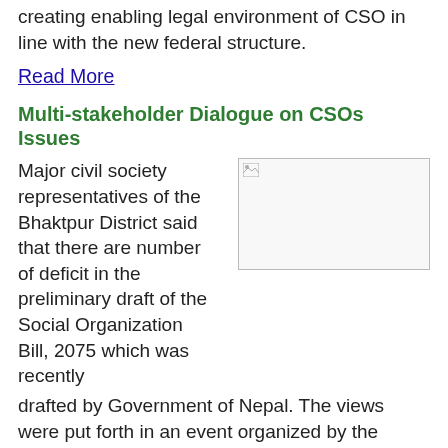creating enabling legal environment of CSO in line with the new federal structure.
Read More
Multi-stakeholder Dialogue on CSOs Issues
Major civil society representatives of the Bhaktpur District said that there are number of deficit in the preliminary draft of the Social Organization Bill, 2075 which was recently drafted by Government of Nepal. The views were put forth in an event organized by the GoGo Foundation on 15 February 2019 at Bhaktapur under the aegis of FHI 360; aiming to sensitize and collect the current issue and agenda of CSO for creating pressure and voice to concern policy maker for making CSO friendly laws .
[Figure (photo): Placeholder image related to the Multi-stakeholder Dialogue event]
As part of the project activities, the event was solely organized to discuss the existing challenges and issues confronted by civil society organizations (CSOs) in the